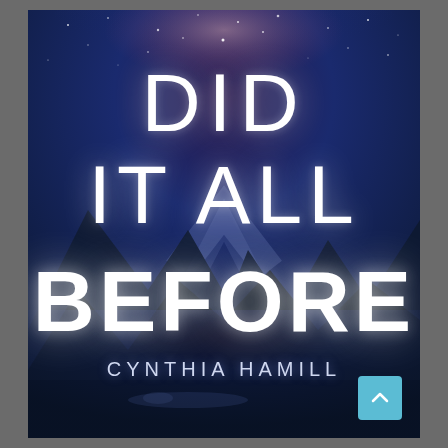[Figure (illustration): Book cover for 'Did It All Before' by Cynthia Hamill. Dark blue/navy background with a night sky featuring a milky way galaxy at top. Mountain landscape silhouette in the background. A figure lying on the ground in the lower portion. Large white text reads 'DID IT ALL BEFORE' with author name 'CYNTHIA HAMILL' below. A light blue scroll-up button in the bottom right corner.]